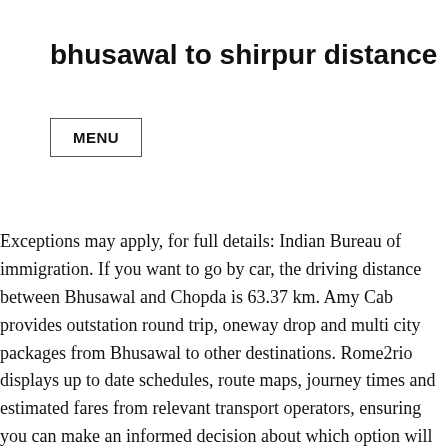bhusawal to shirpur distance
MENU
Exceptions may apply, for full details: Indian Bureau of immigration. If you want to go by car, the driving distance between Bhusawal and Chopda is 63.37 km. Amy Cab provides outstation round trip, oneway drop and multi city packages from Bhusawal to other destinations. Rome2rio displays up to date schedules, route maps, journey times and estimated fares from relevant transport operators, ensuring you can make an informed decision about which option will suit you best. We're working around the clock to bring you the latest COVID-19 travel updates.This information is compiled from official